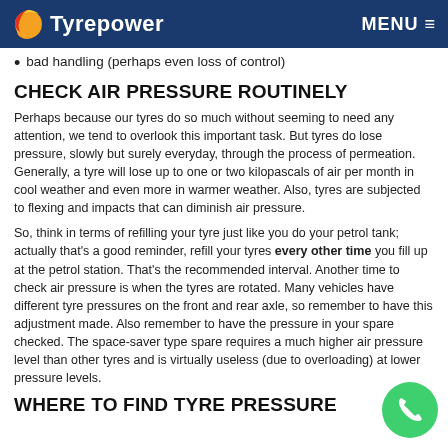Tyrepower   MENU
bad handling (perhaps even loss of control)
CHECK AIR PRESSURE ROUTINELY
Perhaps because our tyres do so much without seeming to need any attention, we tend to overlook this important task. But tyres do lose pressure, slowly but surely everyday, through the process of permeation. Generally, a tyre will lose up to one or two kilopascals of air per month in cool weather and even more in warmer weather. Also, tyres are subjected to flexing and impacts that can diminish air pressure.
So, think in terms of refilling your tyre just like you do your petrol tank; actually that's a good reminder, refill your tyres every other time you fill up at the petrol station. That's the recommended interval. Another time to check air pressure is when the tyres are rotated. Many vehicles have different tyre pressures on the front and rear axle, so remember to have this adjustment made. Also remember to have the pressure in your spare checked. The space-saver type spare requires a much higher air pressure level than other tyres and is virtually useless (due to overloading) at lower pressure levels.
WHERE TO FIND TYRE PRESSURE